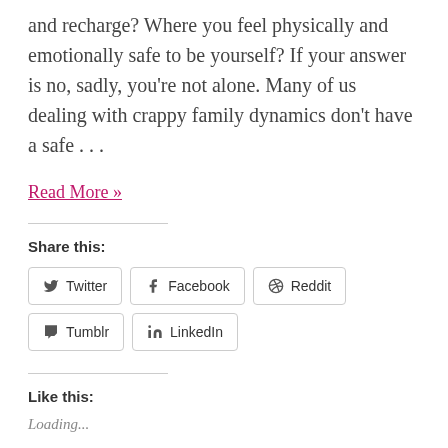and recharge? Where you feel physically and emotionally safe to be yourself? If your answer is no, sadly, you're not alone. Many of us dealing with crappy family dynamics don't have a safe …
Read More »
Share this:
Twitter Facebook Reddit Tumblr LinkedIn
Like this:
Loading...